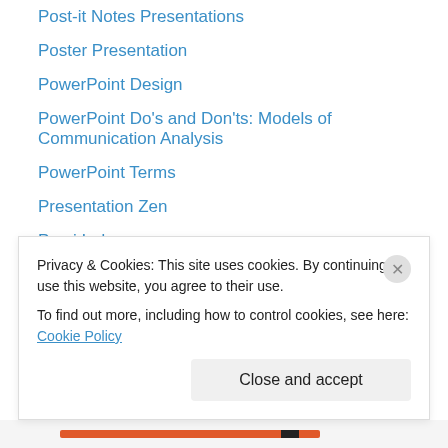Post-it Notes Presentations
Poster Presentation
PowerPoint Design
PowerPoint Do's and Don'ts: Models of Communication Analysis
PowerPoint Terms
Presentation Zen
Prezi Index
How to Create a Timeline Using Prezi
National Flag Presentation Using Prezi
Prezi Evaluation Form
Prezi vs. PowerPoint
Prezi Infographic Video
Prezi Video
Privacy & Cookies: This site uses cookies. By continuing to use this website, you agree to their use.
To find out more, including how to control cookies, see here: Cookie Policy